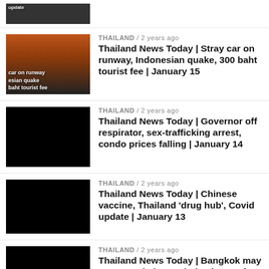[Figure (photo): Partial thumbnail of a news video update, showing top portion of an image]
[Figure (photo): Thumbnail showing airplane at sunset with text: car on runway, esian quake, baht tourist fee]
THAILAND / 2 years ago
Thailand News Today | Stray car on runway, Indonesian quake, 300 baht tourist fee | January 15
[Figure (photo): Black thumbnail image]
THAILAND / 2 years ago
Thailand News Today | Governor off respirator, sex-trafficking arrest, condo prices falling | January 14
[Figure (photo): Black thumbnail image]
THAILAND / 2 years ago
Thailand News Today | Chinese vaccine, Thailand 'drug hub', Covid update | January 13
[Figure (photo): Black thumbnail image]
THAILAND / 2 years ago
Thailand News Today | Bangkok may ease restrictions, Phuket bar curfew, Vaccine roll out | January 12
[Figure (photo): Black thumbnail image]
THAILAND / 2 years ago
Thailand News Today | Covid latest, Cockfights